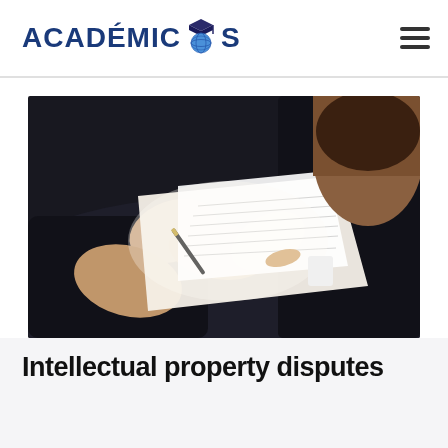ACADÉMICOS
[Figure (photo): Two business professionals in dark suits sitting at a dark table, one signing a document with a pen while the other points at the document with their finger. Papers are spread across the table.]
Intellectual property disputes